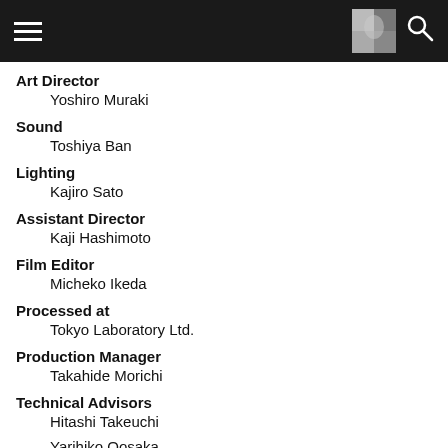Navigation bar with hamburger menu, thumbnail image, and search icon
Art Director
Yoshiro Muraki
Sound
Toshiya Ban
Lighting
Kajiro Sato
Assistant Director
Kaji Hashimoto
Film Editor
Micheko Ikeda
Processed at
Tokyo Laboratory Ltd.
Production Manager
Takahide Morichi
Technical Advisors
Hitashi Takeuchi
Yarihiko Oosaka